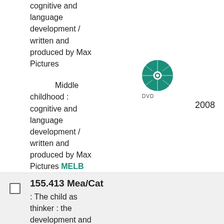cognitive and language development / written and produced by Max Pictures
Middle childhood : cognitive and language development / written and produced by Max Pictures MELB
[Figure (illustration): Green DVD disc icon with DVD label beneath]
2008
155.413 Mea/Cat
: The child as thinker : the development and